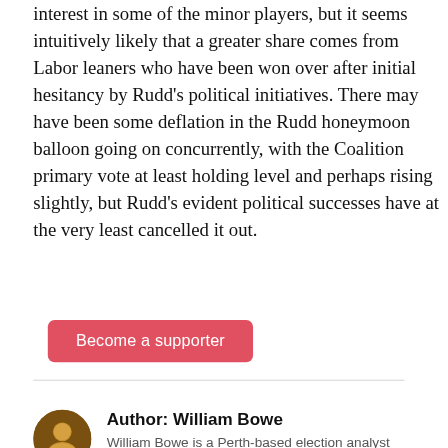interest in some of the minor players, but it seems intuitively likely that a greater share comes from Labor leaners who have been won over after initial hesitancy by Rudd's political initiatives. There may have been some deflation in the Rudd honeymoon balloon going on concurrently, with the Coalition primary vote at least holding level and perhaps rising slightly, but Rudd's evident political successes have at the very least cancelled it out.
[Figure (other): Red rounded-rectangle button labeled 'Become a supporter']
Author: William Bowe
William Bowe is a Perth-based election analyst